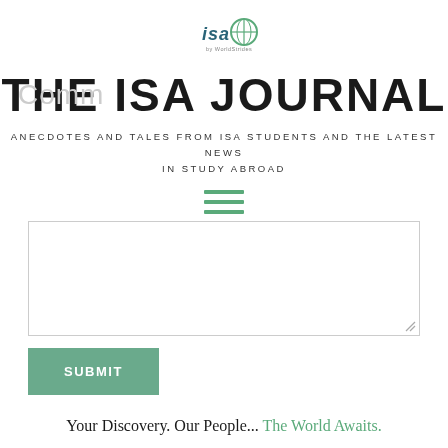[Figure (logo): ISA by WorldStrides logo — circular logo with 'isa' text and globe]
THE ISA JOURNAL
ANECDOTES AND TALES FROM ISA STUDENTS AND THE LATEST NEWS IN STUDY ABROAD
[Figure (other): Hamburger menu icon — three horizontal green lines]
[Figure (screenshot): Comment textarea input box, empty, with resize handle]
SUBMIT
Your Discovery. Our People... The World Awaits.